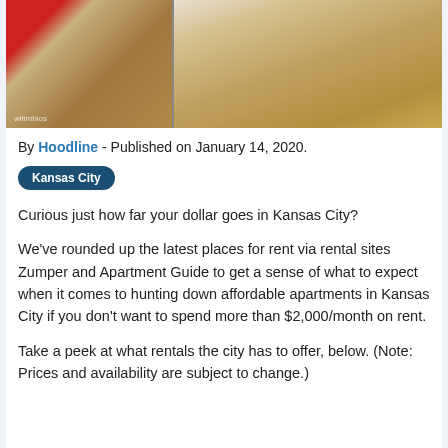[Figure (photo): Interior photo of an apartment showing hardwood floors, white walls, a red door on the left, and open doorways leading to other rooms.]
By Hoodline - Published on January 14, 2020.
Kansas City
Curious just how far your dollar goes in Kansas City?
We've rounded up the latest places for rent via rental sites Zumper and Apartment Guide to get a sense of what to expect when it comes to hunting down affordable apartments in Kansas City if you don't want to spend more than $2,000/month on rent.
Take a peek at what rentals the city has to offer, below. (Note: Prices and availability are subject to change.)